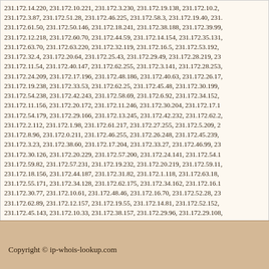231.172.14.220, 231.172.10.221, 231.172.3.230, 231.172.19.138, 231.172.10.2, 231.172.3.87, 231.172.51.28, 231.172.46.225, 231.172.58.3, 231.172.19.40, 231.172.61.50, 231.172.50.146, 231.172.18.241, 231.172.38.188, 231.172.39.99, 231.172.12.218, 231.172.60.70, 231.172.44.59, 231.172.14.154, 231.172.35.131, 231.172.63.70, 231.172.63.220, 231.172.32.119, 231.172.16.5, 231.172.53.192, 231.172.32.4, 231.172.20.64, 231.172.25.43, 231.172.29.49, 231.172.28.219, 231.172.11.54, 231.172.40.147, 231.172.62.255, 231.172.3.141, 231.172.28.253, 231.172.24.209, 231.172.17.196, 231.172.48.186, 231.172.40.63, 231.172.26.17, 231.172.19.238, 231.172.33.53, 231.172.62.25, 231.172.45.48, 231.172.30.199, 231.172.54.238, 231.172.42.243, 231.172.58.69, 231.172.6.92, 231.172.34.152, 231.172.11.156, 231.172.20.172, 231.172.11.246, 231.172.30.204, 231.172.17.1, 231.172.54.179, 231.172.29.166, 231.172.13.245, 231.172.42.232, 231.172.62.2, 231.172.2.112, 231.172.1.98, 231.172.61.217, 231.172.27.255, 231.172.5.209, 231.172.8.96, 231.172.0.211, 231.172.46.255, 231.172.26.248, 231.172.45.239, 231.172.3.23, 231.172.38.60, 231.172.17.204, 231.172.33.27, 231.172.46.99, 231.172.30.126, 231.172.20.229, 231.172.57.200, 231.172.24.141, 231.172.54.1, 231.172.59.82, 231.172.57.231, 231.172.19.232, 231.172.20.219, 231.172.59.11, 231.172.18.156, 231.172.44.187, 231.172.31.82, 231.172.1.118, 231.172.63.18, 231.172.55.171, 231.172.34.128, 231.172.62.175, 231.172.34.162, 231.172.16.1, 231.172.30.77, 231.172.10.61, 231.172.48.46, 231.172.16.70, 231.172.52.28, 231.172.62.89, 231.172.12.157, 231.172.19.55, 231.172.14.81, 231.172.52.152, 231.172.45.143, 231.172.10.33, 231.172.38.157, 231.172.29.96, 231.172.29.108, 231.172.17.234, 231.172.49.99, 231.172.16.219, 231.172.10.176, 231.172.47.8, 231.172.22.11, 231.172.2.6, 231.172.61.250, 231.172.13.154, 231.172.47.204,
Copyright © ip-whois-lookup.com